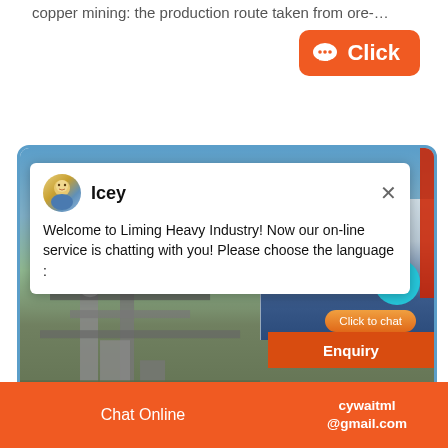copper mining: the production route taken from ore-…
[Figure (screenshot): Orange 'Click' button with chat bubble icon on white background]
[Figure (screenshot): Screenshot of Liming Heavy Industry website with live chat popup. Chat agent 'Icey' with avatar. Message: 'Welcome to Liming Heavy Industry! Now our on-line service is chatting with you! Please choose the language :'. Industrial machinery/mining equipment photo in background. Person (customer service rep) thumbnail on right. Cyan notification badge showing '1'. 'Click to chat' orange button. 'Enquiry' orange bar.]
Chat Online   cywaitml @gmail.com